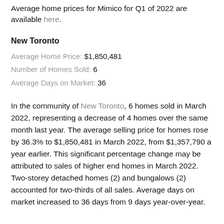Average home prices for Mimico for Q1 of 2022 are available here.
New Toronto
Average Home Price: $1,850,481
Number of Homes Sold: 6
Average Days on Market: 36
In the community of New Toronto, 6 homes sold in March 2022, representing a decrease of 4 homes over the same month last year. The average selling price for homes rose by 36.3% to $1,850,481 in March 2022, from $1,357,790 a year earlier. This significant percentage change may be attributed to sales of higher end homes in March 2022. Two-storey detached homes (2) and bungalows (2) accounted for two-thirds of all sales. Average days on market increased to 36 days from 9 days year-over-year.